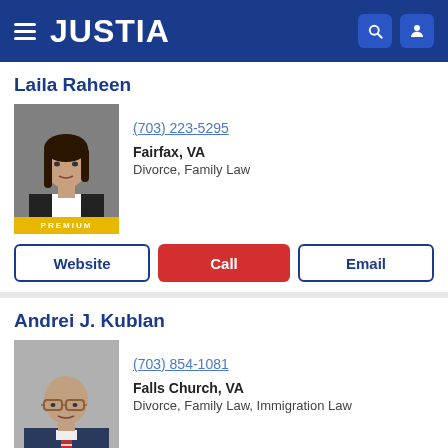JUSTIA
Laila Raheen
(703) 223-5295
Fairfax, VA
Divorce, Family Law
PREMIUM
Website | Call | Email
Andrei J. Kublan
(703) 854-1081
Falls Church, VA
Divorce, Family Law, Immigration Law
PREMIUM
Website | Call | Email